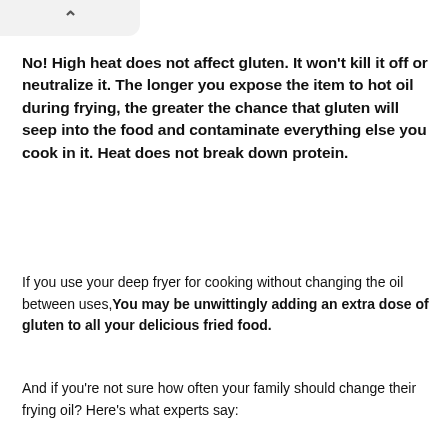No! High heat does not affect gluten. It won't kill it off or neutralize it. The longer you expose the item to hot oil during frying, the greater the chance that gluten will seep into the food and contaminate everything else you cook in it. Heat does not break down protein.
If you use your deep fryer for cooking without changing the oil between uses, You may be unwittingly adding an extra dose of gluten to all your delicious fried food.
And if you're not sure how often your family should change their frying oil? Here's what experts say: